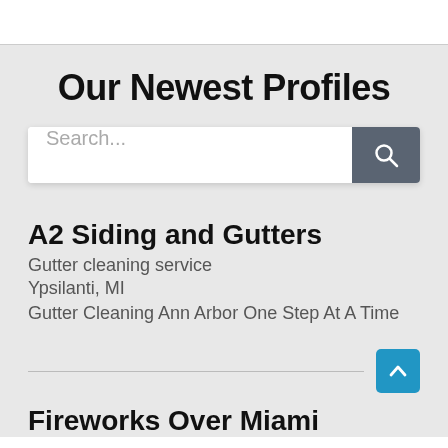Our Newest Profiles
[Figure (screenshot): Search bar with text placeholder 'Search...' and a dark grey search button with magnifying glass icon]
A2 Siding and Gutters
Gutter cleaning service
Ypsilanti, MI
Gutter Cleaning Ann Arbor One Step At A Time
Fireworks Over Miami